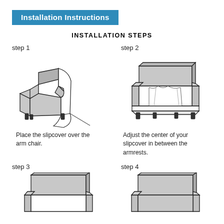Installation Instructions
INSTALLATION STEPS
step 1
[Figure (illustration): Illustration of an armchair with a slipcover being draped over the back, shown in isometric view with gray shading and black outlines.]
Place the slipcover over the arm chair.
step 2
[Figure (illustration): Illustration of an armchair with the slipcover partially applied, showing the white/uncovered seat area and the cover draped in between armrests, front-facing isometric view.]
Adjust the center of your slipcover in between the armrests.
step 3
[Figure (illustration): Partial illustration of an armchair from above, showing the top of the chair back with slipcover being tucked, cropped at bottom of page.]
step 4
[Figure (illustration): Partial illustration of an armchair from above, showing the top of the chair back with slipcover, cropped at bottom of page.]